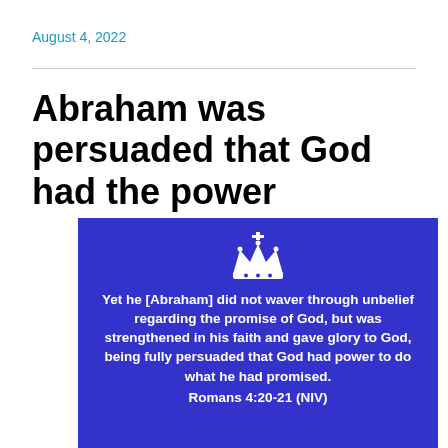August 4, 2022
Abraham was persuaded that God had the power
[Figure (illustration): Blue 'Keep Calm' style poster with a white crown icon and the text: Yet he [Abraham] did not waver through unbelief regarding the promise of God, but was strengthened in his faith and gave glory to God, being fully persuaded that God had power to do what he had promised. Romans 4:20-21 (NIV)]